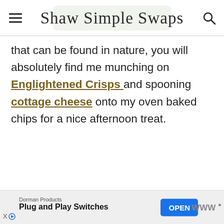Shaw Simple Swaps
that can be found in nature, you will absolutely find me munching on Englightened Crisps and spooning cottage cheese onto my oven baked chips for a nice afternoon treat.
Dorman Products Plug and Play Switches OPEN